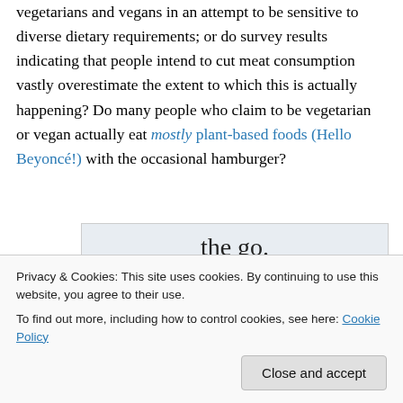vegetarians and vegans in an attempt to be sensitive to diverse dietary requirements; or do survey results indicating that people intend to cut meat consumption vastly overestimate the extent to which this is actually happening? Do many people who claim to be vegetarian or vegan actually eat mostly plant-based foods (Hello Beyoncé!) with the occasional hamburger?
[Figure (screenshot): Advertisement banner showing 'the go.' text with 'GET THE APP' link and WordPress logo icon]
Privacy & Cookies: This site uses cookies. By continuing to use this website, you agree to their use.
To find out more, including how to control cookies, see here: Cookie Policy